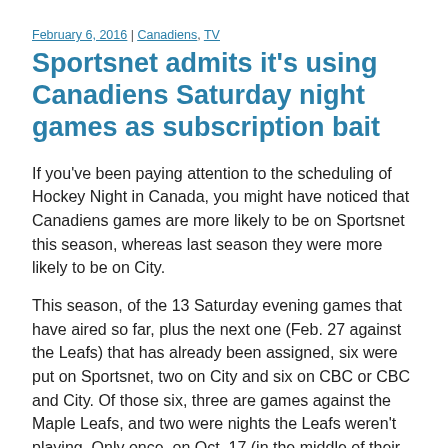February 6, 2016 | Canadiens, TV
Sportsnet admits it's using Canadiens Saturday night games as subscription bait
If you've been paying attention to the scheduling of Hockey Night in Canada, you might have noticed that Canadiens games are more likely to be on Sportsnet this season, whereas last season they were more likely to be on City.
This season, of the 13 Saturday evening games that have aired so far, plus the next one (Feb. 27 against the Leafs) that has already been assigned, six were put on Sportsnet, two on City and six on CBC or CBC and City. Of those six, three are games against the Maple Leafs, and two were nights the Leafs weren't playing. Only once, on Oct. 17 (in the middle of their season-opening hot streak) did the Canadiens go on CBC and home, the last few on the